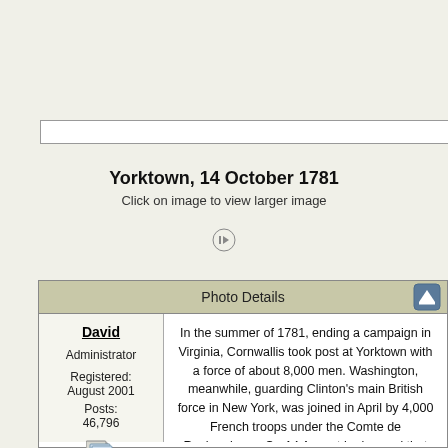Yorktown, 14 October 1781
Click on image to view larger image
| User | Content |
| --- | --- |
| David
Administrator
Registered: August 2001
Posts: 46,796 | In the summer of 1781, ending a campaign in Virginia, Cornwallis took post at Yorktown with a force of about 8,000 men. Washington, meanwhile, guarding Clinton's main British force in New York, was joined in April by 4,000 French troops under the Comte de Rochambeau. On 14 August he learned that French Admiral De Grasse, with a powerful fleet, was sailing from the West Indies to the Chesapeake Bay. In the hope of surrounding Cornwallis by land and sea, Washington hurried southward with the main portion of the Franco-American Army, leaving only a small force to guard Clinton in New York. |